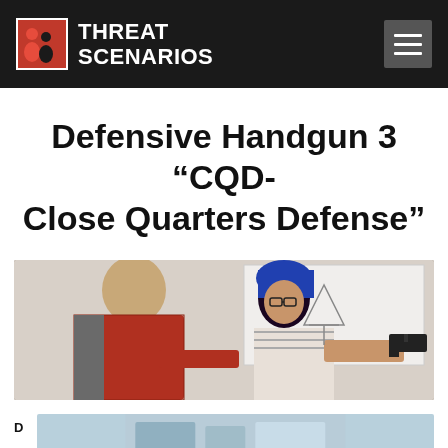THREAT SCENARIOS
Defensive Handgun 3 “CQD-Close Quarters Defense”
[Figure (photo): An instructor in a red and gray polo shirt guides a woman with blue hair and glasses holding a handgun in a defensive shooting stance. A whiteboard with diagrams is visible in the background.]
[Figure (photo): Partial view of additional training content image at bottom right of page.]